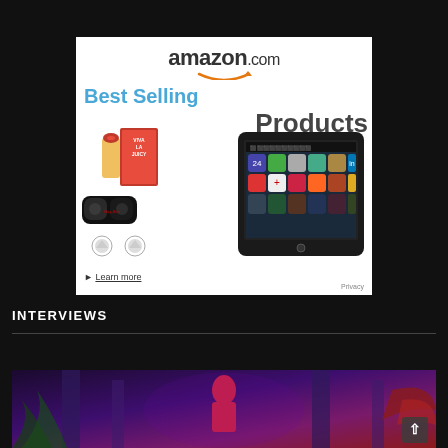[Figure (screenshot): Amazon.com Best Selling Products advertisement banner featuring a Kindle Fire tablet, Ray-Ban sunglasses, Viva La Juicy perfume, diamond stud earrings, and a 'Learn more' link. Privacy link in bottom right corner.]
INTERVIEWS
[Figure (photo): A performer in red/orange costume with dramatic makeup and theatrical staging, featuring purple lighting and what appears to be a fantasy or theatrical production scene.]